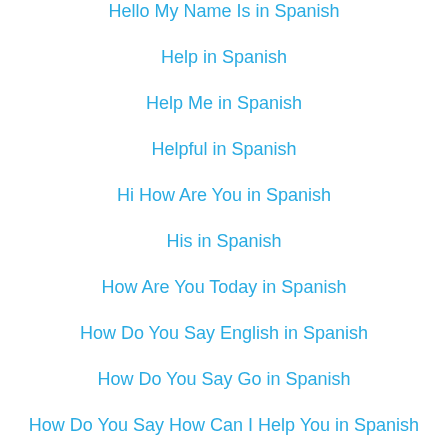Hello My Name Is in Spanish
Help in Spanish
Help Me in Spanish
Helpful in Spanish
Hi How Are You in Spanish
His in Spanish
How Are You Today in Spanish
How Do You Say English in Spanish
How Do You Say Go in Spanish
How Do You Say How Can I Help You in Spanish
How Do You Say Money in Spanish
Spanish in Spanish
How Much in Spanish